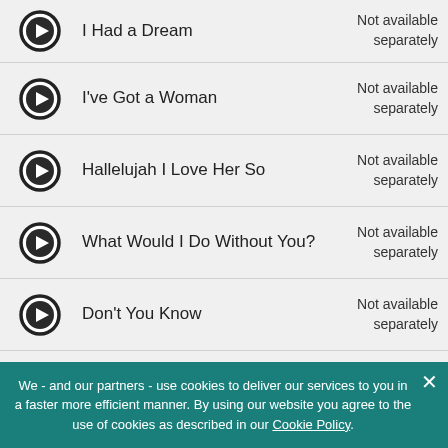I Had a Dream — Not available separately
I've Got a Woman — Not available separately
Hallelujah I Love Her So — Not available separately
What Would I Do Without You? — Not available separately
Don't You Know — Not available separately
We - and our partners - use cookies to deliver our services to you in a faster more efficient manner. By using our website you agree to the use of cookies as described in our Cookie Policy.